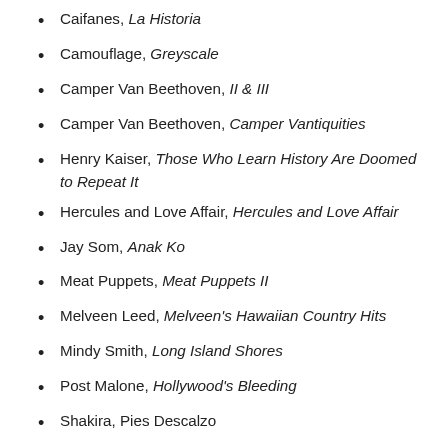Caifanes, La Historia
Camouflage, Greyscale
Camper Van Beethoven, II & III
Camper Van Beethoven, Camper Vantiquities
Henry Kaiser, Those Who Learn History Are Doomed to Repeat It
Hercules and Love Affair, Hercules and Love Affair
Jay Som, Anak Ko
Meat Puppets, Meat Puppets II
Melveen Leed, Melveen's Hawaiian Country Hits
Mindy Smith, Long Island Shores
Post Malone, Hollywood's Bleeding
Shakira, Pies Descalzo
Talking Heads, True Stories
The B-52's, Party Mix / Mesopotamia
The Damned, Machine Gun Etiquette